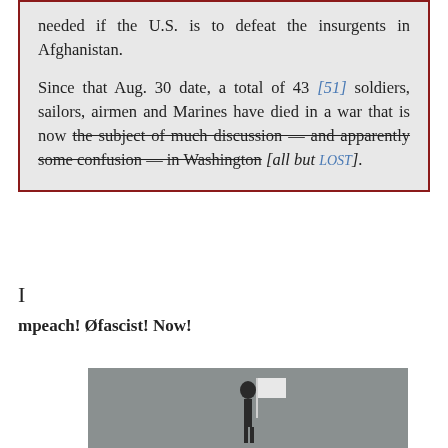needed if the U.S. is to defeat the insurgents in Afghanistan.

Since that Aug. 30 date, a total of 43 [51] soldiers, sailors, airmen and Marines have died in a war that is now the subject of much discussion — and apparently some confusion — in Washington [all but LOST].
I
mpeach! Øfascist! Now!
[Figure (photo): A person standing holding a white flag or sign, photographed against a gray background]